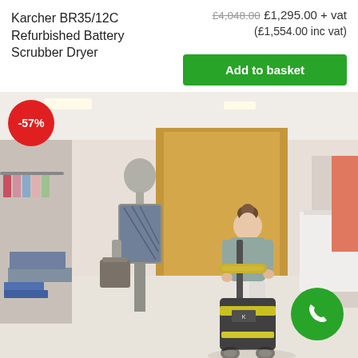Karcher BR35/12C Refurbished Battery Scrubber Dryer
£4,048.00  £1,295.00 + vat (£1,554.00 inc vat)
Add to basket
[Figure (photo): A woman operating a Karcher BR35/12C battery scrubber dryer floor cleaning machine inside a clothing retail store. A mannequin is visible on the left. A red discount badge showing -57% is overlaid on the top-left of the image. A green phone/call button is in the bottom-right corner.]